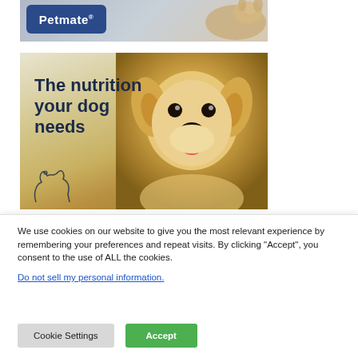[Figure (illustration): Petmate brand advertisement banner with logo on blue rounded rectangle background and a dog visible on the right side]
[Figure (photo): Pet food advertisement showing a smiling golden retriever puppy with text 'The nutrition your dog needs' and a dog outline illustration in the bottom left corner]
We use cookies on our website to give you the most relevant experience by remembering your preferences and repeat visits. By clicking “Accept”, you consent to the use of ALL the cookies.
Do not sell my personal information.